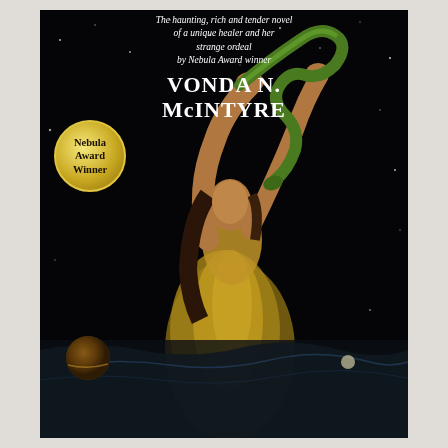[Figure (illustration): Book cover for a novel by Vonda N. McIntyre. Dark background with stars. A woman in golden robes holds a green snake aloft with both hands raised above her head. She gazes upward. In the lower left a half-planet or moon is visible. A body of water or landscape is seen in the lower background. Tagline at top reads 'The haunting, rich and tender novel of a unique healer and her strange ordeal by Nebula Award winner'. Author name 'VONDA N. McINTYRE' in large white bold text. Nebula Award Winner gold badge on the left side.]